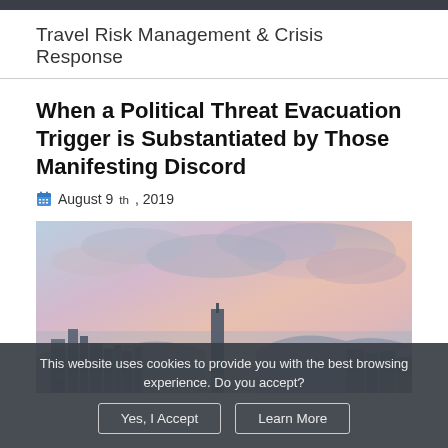Travel Risk Management & Crisis Response
When a Political Threat Evacuation Trigger is Substantiated by Those Manifesting Discord
August 9th, 2019
[Figure (photo): Aerial cityscape photo showing a skyline with tall buildings under a dramatic pink and blue cloudy sky at dusk or dawn, likely Hong Kong.]
This website uses cookies to provide you with the best browsing experience. Do you accept?